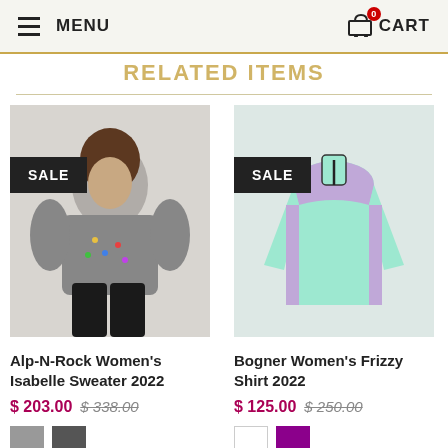MENU  CART
RELATED ITEMS
[Figure (photo): Woman wearing gray Alp-N-Rock sweater with colorful embroidery details and black pants, with SALE badge overlay]
Alp-N-Rock Women's Isabelle Sweater 2022
$ 203.00  $ 338.00
[Figure (photo): Bogner Women's mint green Frizzy Shirt 2022 with lavender accents and half-zip collar, with SALE badge overlay]
Bogner Women's Frizzy Shirt 2022
$ 125.00  $ 250.00